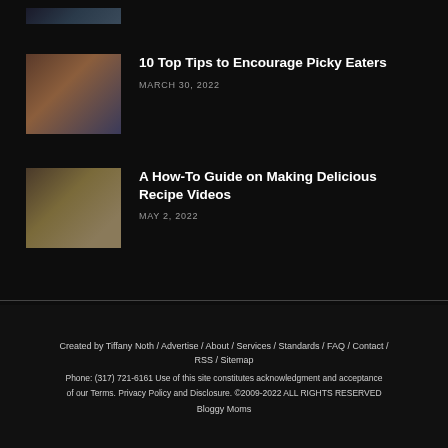[Figure (photo): Partial thumbnail of a car or vehicle at the top of the page]
[Figure (photo): Thumbnail photo of a child with mouth open wide, sticking out tongue]
10 Top Tips to Encourage Picky Eaters
MARCH 30, 2022
[Figure (photo): Thumbnail photo of food dishes and bowls on a table viewed from above]
A How-To Guide on Making Delicious Recipe Videos
MAY 2, 2022
Created by Tiffany Noth / Advertise / About / Services / Standards / FAQ / Contact / RSS / Sitemap
Phone: (317) 721-6161 Use of this site constitutes acknowledgment and acceptance of our Terms. Privacy Policy and Disclosure. ©2009-2022 ALL RIGHTS RESERVED
Bloggy Moms